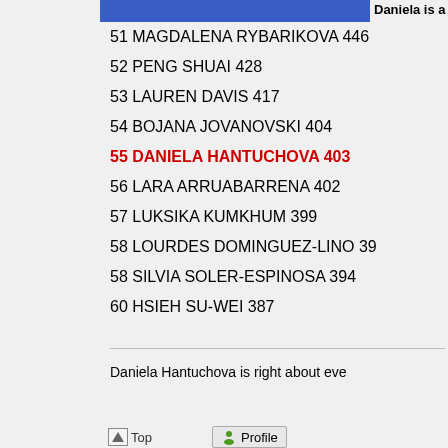Daniela is a
51 MAGDALENA RYBARIKOVA 446
52 PENG SHUAI 428
53 LAUREN DAVIS 417
54 BOJANA JOVANOVSKI 404
55 DANIELA HANTUCHOVA 403
56 LARA ARRUABARRENA 402
57 LUKSIKA KUMKHUM 399
58 LOURDES DOMINGUEZ-LINO 39
58 SILVIA SOLER-ESPINOSA 394
60 HSIEH SU-WEI 387
Daniela Hantuchova is right about eve
Top
Profile
Display posts from previous:  All p
New Topic   Post Reply   Page 1 of 3  [ 40 posts ]  Board index : English F